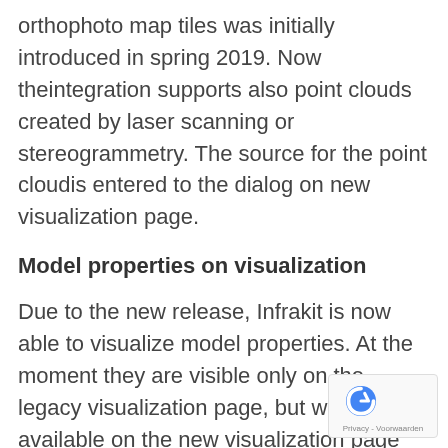orthophoto map tiles was initially introduced in spring 2019. Now theintegration supports also point clouds created by laser scanning or stereogrammetry. The source for the point cloudis entered to the dialog on new visualization page.
Model properties on visualization
Due to the new release, Infrakit is now able to visualize model properties. At the moment they are visible only on the legacy visualization page, but will be available on the new visualization page later as well. Right click on top of the